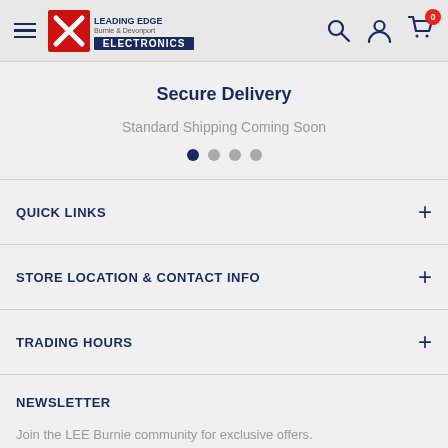Leading Edge Electronics — Burnie & Devonport — Navigation header with search, account, and cart icons
Secure Delivery
Standard Shipping Coming Soon
QUICK LINKS
STORE LOCATION & CONTACT INFO
TRADING HOURS
NEWSLETTER
Join the LEE Burnie community for exclusive offers.